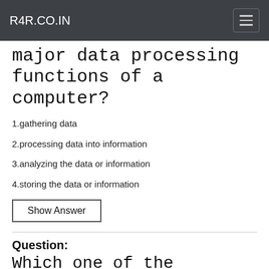R4R.CO.IN
major data processing functions of a computer?
1.gathering data
2.processing data into information
3.analyzing the data or information
4.storing the data or information
Show Answer
Question:
Which one of the